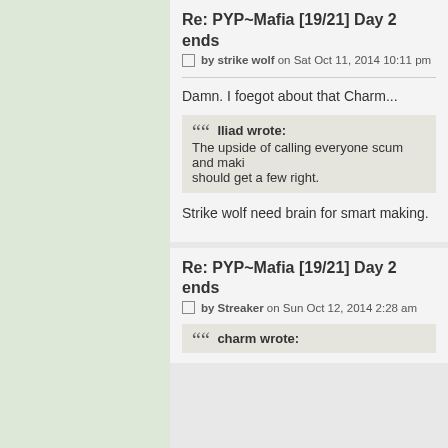Re: PYP~Mafia [19/21] Day 2 ends
by strike wolf on Sat Oct 11, 2014 10:11 pm
Damn. I foegot about that Charm...
Iliad wrote: The upside of calling everyone scum and maki... should get a few right.
Strike wolf need brain for smart making.
Re: PYP~Mafia [19/21] Day 2 ends
by Streaker on Sun Oct 12, 2014 2:28 am
charm wrote: